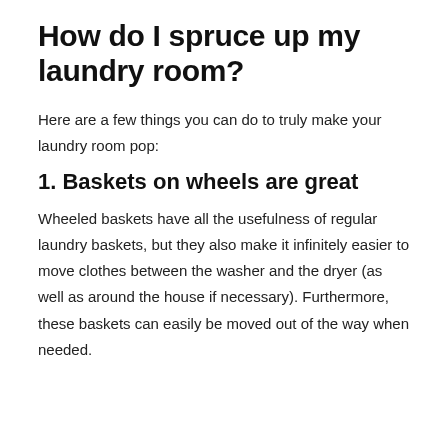How do I spruce up my laundry room?
Here are a few things you can do to truly make your laundry room pop:
1. Baskets on wheels are great
Wheeled baskets have all the usefulness of regular laundry baskets, but they also make it infinitely easier to move clothes between the washer and the dryer (as well as around the house if necessary). Furthermore, these baskets can easily be moved out of the way when needed.